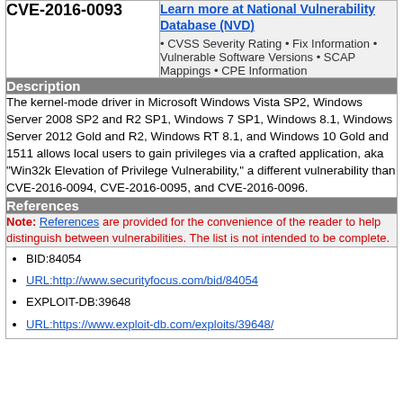CVE-2016-0093
Learn more at National Vulnerability Database (NVD)
• CVSS Severity Rating • Fix Information • Vulnerable Software Versions • SCAP Mappings • CPE Information
Description
The kernel-mode driver in Microsoft Windows Vista SP2, Windows Server 2008 SP2 and R2 SP1, Windows 7 SP1, Windows 8.1, Windows Server 2012 Gold and R2, Windows RT 8.1, and Windows 10 Gold and 1511 allows local users to gain privileges via a crafted application, aka "Win32k Elevation of Privilege Vulnerability," a different vulnerability than CVE-2016-0094, CVE-2016-0095, and CVE-2016-0096.
References
Note: References are provided for the convenience of the reader to help distinguish between vulnerabilities. The list is not intended to be complete.
BID:84054
URL:http://www.securityfocus.com/bid/84054
EXPLOIT-DB:39648
URL:https://www.exploit-db.com/exploits/39648/